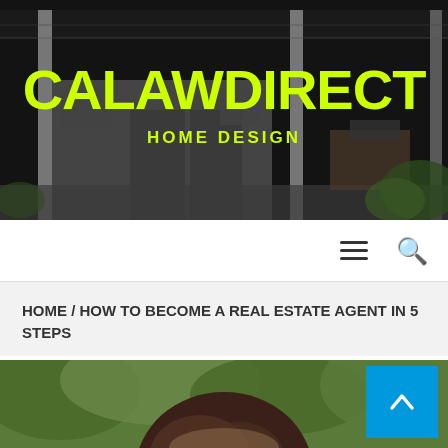[Figure (photo): Dark background photo of a carport/garage structure with white posts, a dark overhang roof, and a residential building in the background with trees and outdoor furniture visible]
CALAWDIRECT
HOME DESIGN
[Figure (other): Navigation bar with hamburger menu icon and search icon on right side]
HOME / HOW TO BECOME A REAL ESTATE AGENT IN 5 STEPS
[Figure (photo): Partial photo showing the top of a person's head with dark hair, with green foliage in the background. A blue back-to-top arrow button is overlaid in the bottom right corner.]